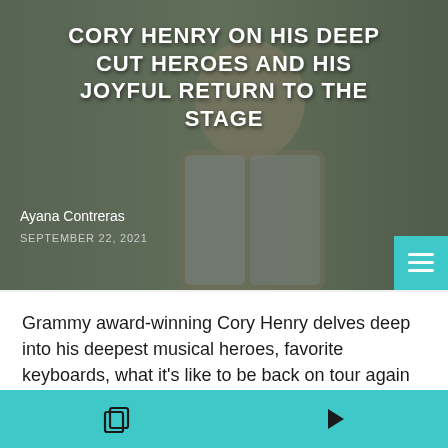[Figure (photo): Hero image of Cory Henry, a musician in a denim jacket with glasses, set against a muted grey-green background with a dark overlay. Bold white title text overlays the top portion of the image. Author byline and date appear at the bottom left.]
CORY HENRY ON HIS DEEP CUT HEROES AND HIS JOYFUL RETURN TO THE STAGE
Ayana Contreras
SEPTEMBER 22, 2021
Grammy award-winning Cory Henry delves deep into his deepest musical heroes, favorite keyboards, what it's like to be back on tour again and more.
CHICAGO MUSIC    FEATURED